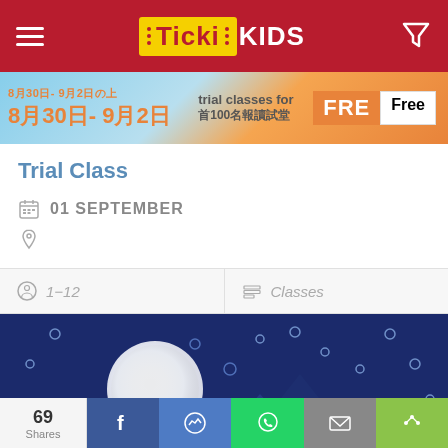Ticki KIDS
[Figure (screenshot): Promotional banner for trial classes: 8月30日- 9月2日, trial classes for 首100名報讀試堂, FREE, Free]
Trial Class
01 SEPTEMBER
1-12   Classes
[Figure (photo): Indigo-dye fabric art showing a large white moon/circle with mountain silhouettes and small circular motifs on dark navy fabric background]
69 Shares | Facebook | Messenger | WhatsApp | Email | Share